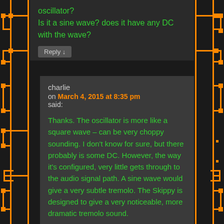oscillator?
Is it a sine wave? does it have any DC with the wave?
Reply ↓
charlie
on March 4, 2015 at 8:35 pm said:
Thanks. The oscillator is more like a square wave – can be very choppy sounding. I don't know for sure, but there probably is some DC. However, the way it's configured, very little gets through to the audio signal path. A sine wave would give a very subtle tremolo. The Skippy is designed to give a very noticeable, more dramatic tremolo sound.